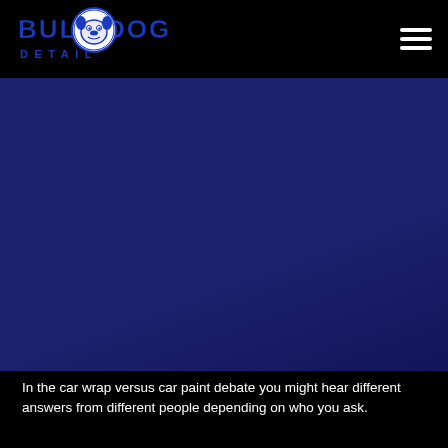[Figure (logo): Bull Dog Detail logo — text 'BULL DOG DETAIL' in blue with a bulldog mascot graphic, on black background]
[Figure (other): Dark navy/indigo hero image area — appears to be a vehicle or car detail photo with very dark blue background]
In the car wrap versus car paint debate you might hear different answers from different people depending on who you ask.